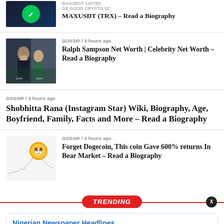[Figure (screenshot): Crypto article thumbnail with dark background and green icon]
MAXUSDT (TRX) – Read a Biography
[Figure (photo): Photo of Ralph Sampson and a woman at an event]
GOSSIP / 3 hours ago
Ralph Sampson Net Worth | Celebrity Net Worth – Read a Biography
GOSSIP / 3 hours ago
Shobhitta Rana (Instagram Star) Wiki, Biography, Age, Boyfriend, Family, Facts and More – Read a Biography
[Figure (screenshot): Dogecoin chart thumbnail with Shiba Inu icon]
GOSSIP / 3 hours ago
Forget Dogecoin, This coin Gave 600% returns In Bear Market – Read a Biography
TRENDING
Nigerian Newspaper Headlines & Naija News Today, Saturday
6 hours ago